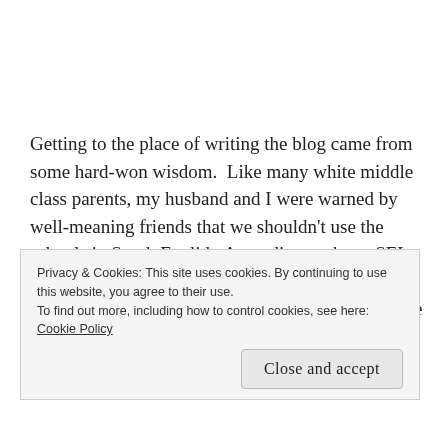Getting to the place of writing the blog came from some hard-won wisdom.  Like many white middle class parents, my husband and I were warned by well-meaning friends that we shouldn't use the schools in South Euclid.  According to them, SEL Schools just weren't good enough for our children. Since it was part of the family tradition anyway, we dutifully put our kids in Catholic School. Wh...
Privacy & Cookies: This site uses cookies. By continuing to use this website, you agree to their use.
To find out more, including how to control cookies, see here: Cookie Policy
[Close and accept]